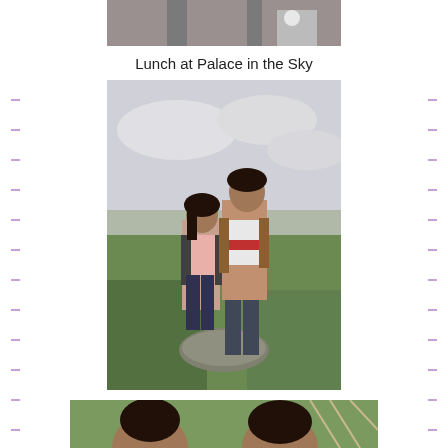[Figure (photo): Partial view of a building or structure, top of page (cropped)]
Lunch at Palace in the Sky
[Figure (photo): Two young people (a woman and a man) standing together on a rock on a hilltop with green grass and a cloudy sky in the background]
[Figure (photo): Two people smiling outdoors, partially visible at bottom of page (cropped)]